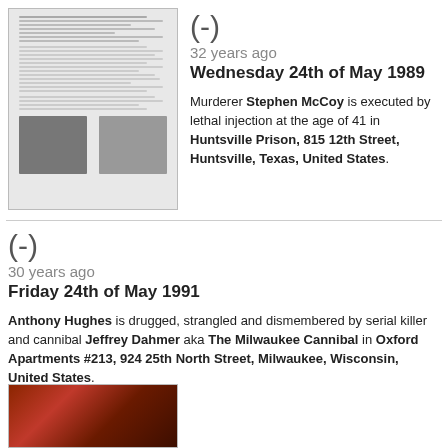[Figure (photo): Scanned police/criminal record document with two mugshot photos at the bottom]
(-)
32 years ago
Wednesday 24th of May 1989

Murderer Stephen McCoy is executed by lethal injection at the age of 41 in Huntsville Prison, 815 12th Street, Huntsville, Texas, United States.
(-)
30 years ago
Friday 24th of May 1991

Anthony Hughes is drugged, strangled and dismembered by serial killer and cannibal Jeffrey Dahmer aka The Milwaukee Cannibal in Oxford Apartments #213, 924 25th North Street, Milwaukee, Wisconsin, United States.
[Figure (photo): Partial view of a red/dark colored photograph at the bottom left]